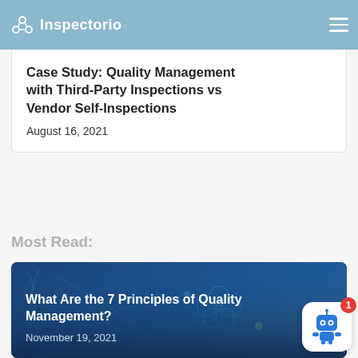Inspectorio
Case Study: Quality Management with Third-Party Inspections vs Vendor Self-Inspections
August 16, 2021
Most Read:
[Figure (photo): Blue-toned banner image with network/technology graphics and Inspectorio logo pattern overlay]
What Are the 7 Principles of Quality Management?
November 19, 2021